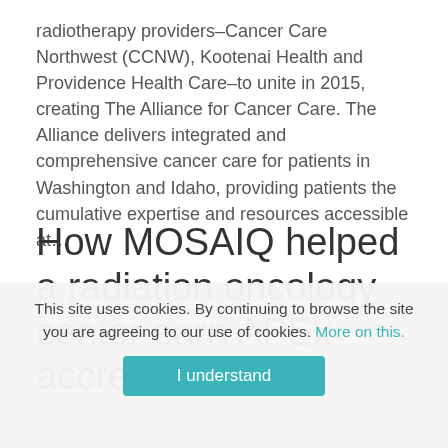radiotherapy providers–Cancer Care Northwest (CCNW), Kootenai Health and Providence Health Care–to unite in 2015, creating The Alliance for Cancer Care. The Alliance delivers integrated and comprehensive cancer care for patients in Washington and Idaho, providing patients the cumulative expertise and resources accessible at…
How MOSAIQ helped a radiation oncology center earn APEx accreditation
This site uses cookies. By continuing to browse the site you are agreeing to our use of cookies. More on this.